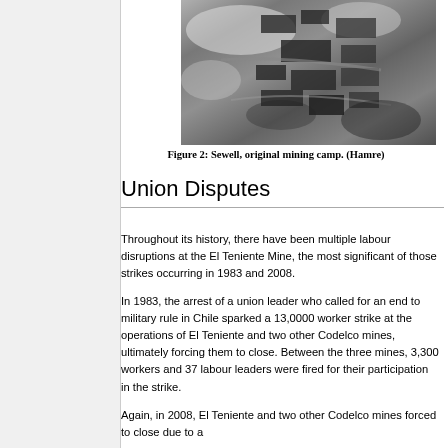[Figure (photo): Aerial black and white photograph of Sewell, the original mining camp, showing buildings and structures on a hillside.]
Figure 2: Sewell, original mining camp. (Hamre)
Union Disputes
Throughout its history, there have been multiple labour disruptions at the El Teniente Mine, the most significant of those strikes occurring in 1983 and 2008.
In 1983, the arrest of a union leader who called for an end to military rule in Chile sparked a 13,0000 worker strike at the operations of El Teniente and two other Codelco mines, ultimately forcing them to close. Between the three mines, 3,300 workers and 37 labour leaders were fired for their participation in the strike.
Again, in 2008, El Teniente and two other Codelco mines forced to close due to a...